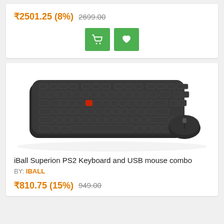₹2501.25 (8%) 2699.00
[Figure (screenshot): Green cart button and green heart/wishlist button]
[Figure (photo): iBall Superion PS2 Keyboard and USB mouse combo product image showing a black keyboard with red accent key and a black USB mouse]
iBall Superion PS2 Keyboard and USB mouse combo
BY: IBALL
₹810.75 (15%) 949.00